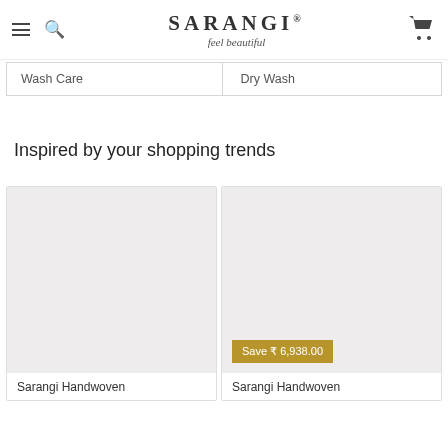SARANGI® feel beautiful
| Wash Care | Dry Wash |
| --- | --- |
Inspired by your shopping trends
[Figure (photo): Product image placeholder (light grey rectangle) for Sarangi Handwoven product card 1]
Sarangi Handwoven
[Figure (photo): Product image placeholder (light grey rectangle) for Sarangi Handwoven product card 2, with Save ₹ 6,938.00 badge]
Save ₹ 6,938.00
Sarangi Handwoven